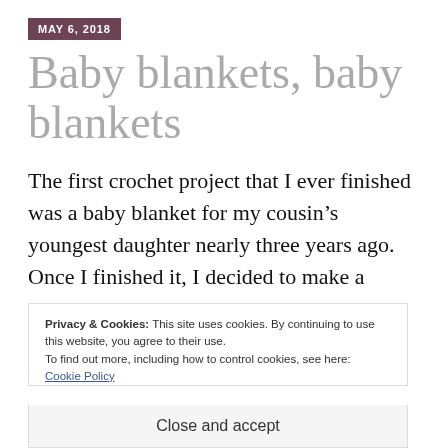MAY 6, 2018
Baby blankets, baby blankets
The first crochet project that I ever finished was a baby blanket for my cousin’s youngest daughter nearly three years ago. Once I finished it, I decided to make a
Privacy & Cookies: This site uses cookies. By continuing to use this website, you agree to their use.
To find out more, including how to control cookies, see here:
Cookie Policy
Close and accept